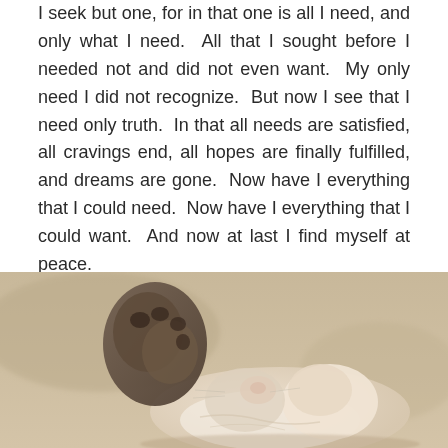I seek but one, for in that one is all I need, and only what I need.  All that I sought before I needed not and did not even want.  My only need I did not recognize.  But now I see that I need only truth.  In that all needs are satisfied, all cravings end, all hopes are finally fulfilled, and dreams are gone.  Now have I everything that I could need.  Now have I everything that I could want.  And now at last I find myself at peace.
2. And for that peace, our Father, we give thanks.  What we denied ourselves You have restored, and only that is what we really want.[1]
[Figure (photo): Close-up photograph of a small kitten lying on its back with paws raised, appearing to be resting peacefully on a light surface, blurred background.]